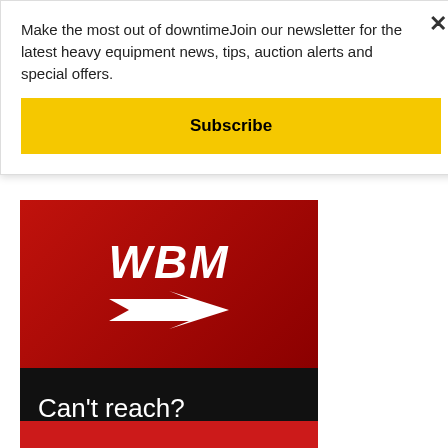Make the most out of downtimeJoin our newsletter for the latest heavy equipment news, tips, auction alerts and special offers.
Subscribe
[Figure (logo): WBM logo with arrow on red background and 'Can't reach?' text on black background — advertisement image]